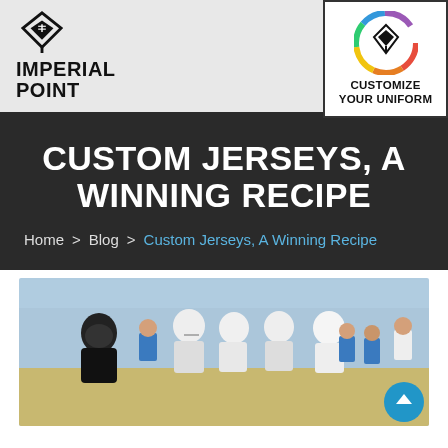[Figure (logo): Imperial Point logo with diamond/football icon and text IMPERIAL POINT]
[Figure (logo): Customize Your Uniform circular badge with rainbow ring and football icon]
CUSTOM JERSEYS, A WINNING RECIPE
Home > Blog > Custom Jerseys, A Winning Recipe
[Figure (photo): Youth football players in helmets and jerseys in a game action scene outdoors]